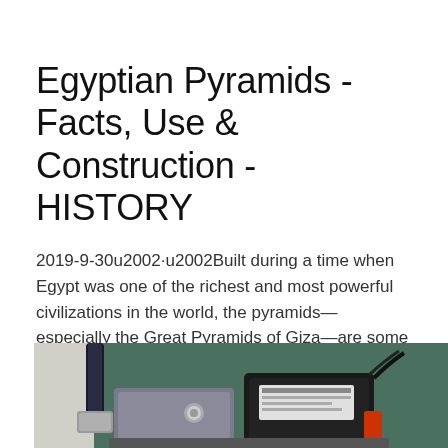Egyptian Pyramids - Facts, Use & Construction - HISTORY
2019-9-30u2002·u2002Built during a time when Egypt was one of the richest and most powerful civilizations in the world, the pyramids—especially the Great Pyramids of Giza—are some of …
Get Price
[Figure (photo): Photo of industrial equipment — appears to show a pump or meter device with a black electronic unit mounted on metal machinery, against a green background]